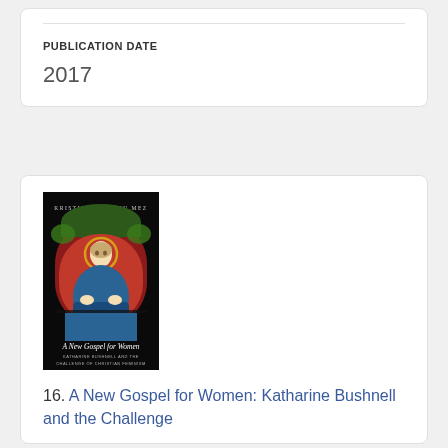PUBLICATION DATE
2017
[Figure (photo): Book cover of 'A New Gospel for Women: Katharine Bushnell and the Challenge of Christian Feminism' by Kristin Kobes Du Mez. Shows a stained glass window image of a woman in blue robes with a halo, on a black background.]
16. A New Gospel for Women: Katharine Bushnell and the Challenge